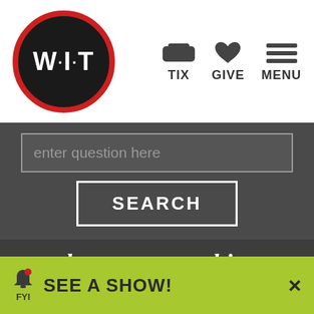[Figure (logo): WIT logo — black circle with red border, white bold text W·I·T]
TIX   GIVE   MENU
enter question here
SEARCH
other necessary things
Privacy Statement
Terms and Conditions
Frequently Asked Questions
Class Policies
Discrimination and Harassment Prevention Policy
🔔 FYI   SEE A SHOW!   ×